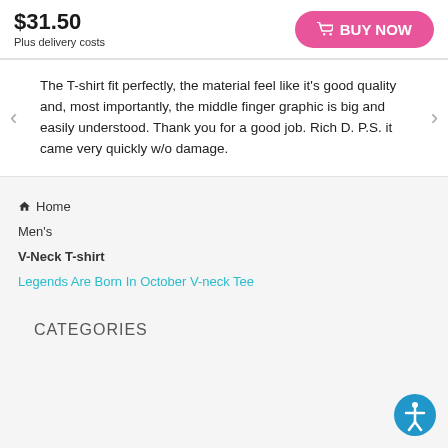$31.50
Plus delivery costs
BUY NOW
The T-shirt fit perfectly, the material feel like it's good quality and, most importantly, the middle finger graphic is big and easily understood. Thank you for a good job. Rich D. P.S. it came very quickly w/o damage.
Home
Men's
V-Neck T-shirt
Legends Are Born In October V-neck Tee
CATEGORIES